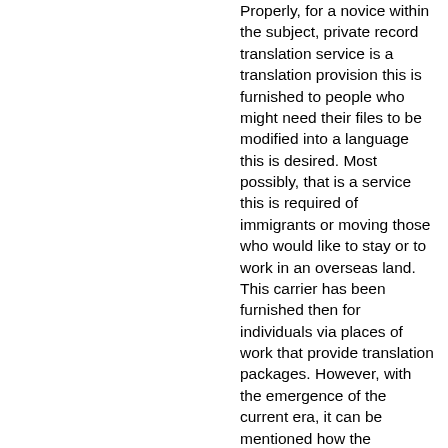Properly, for a novice within the subject, private record translation service is a translation provision this is furnished to people who might need their files to be modified into a language this is desired. Most possibly, that is a service this is required of immigrants or moving those who would like to stay or to work in an overseas land. This carrier has been furnished then for individuals via places of work that provide translation packages. However, with the emergence of the current era, it can be mentioned how the technique of private document translation has already modified its face.
it couldn't be denied that the emergence of modern generation has genuinely elevated the right functionality of personal translation offerings to provide forth an undoubted service that is on time and of high-quality consequences for the clients.
due to the openness of the global web, commercial enterprise